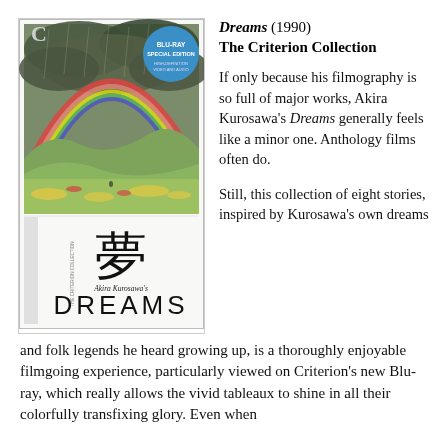[Figure (photo): DVD/Blu-ray cover art for Akira Kurosawa's Dreams (1990) Criterion Collection Blu-ray Special Edition. Shows a painting of a rainbow over a green landscape with rain, a large Japanese kanji character 夢 (dream), small text 'Akira Kurosawa's' and large text 'DREAMS'. A blue circular badge reads 'BLU-RAY SPECIAL EDITION'. The cover has a Criterion C logo at the top left.]
Dreams (1990)
The Criterion Collection
If only because his filmography is so full of major works, Akira Kurosawa's Dreams generally feels like a minor one. Anthology films often do.
Still, this collection of eight stories, inspired by Kurosawa's own dreams and folk legends he heard growing up, is a thoroughly enjoyable filmgoing experience, particularly viewed on Criterion's new Blu-ray, which really allows the vivid tableaux to shine in all their colorfully transfixing glory. Even when